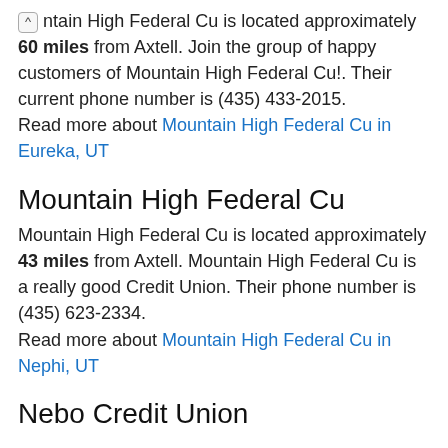ntain High Federal Cu is located approximately 60 miles from Axtell. Join the group of happy customers of Mountain High Federal Cu!. Their current phone number is (435) 433-2015. Read more about Mountain High Federal Cu in Eureka, UT
Mountain High Federal Cu
Mountain High Federal Cu is located approximately 43 miles from Axtell. Mountain High Federal Cu is a really good Credit Union. Their phone number is (435) 623-2334. Read more about Mountain High Federal Cu in Nephi, UT
Nebo Credit Union